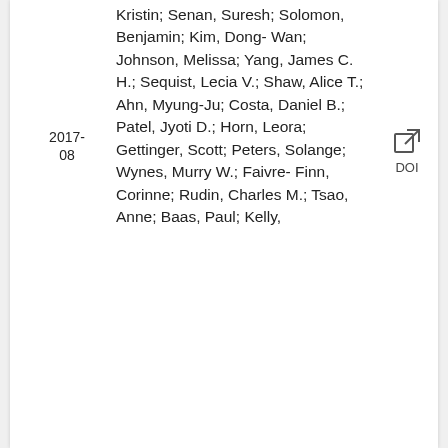2017-08
Kristin; Senan, Suresh; Solomon, Benjamin; Kim, Dong-Wan; Johnson, Melissa; Yang, James C. H.; Sequist, Lecia V.; Shaw, Alice T.; Ahn, Myung-Ju; Costa, Daniel B.; Patel, Jyoti D.; Horn, Leora; Gettinger, Scott; Peters, Solange; Wynes, Murry W.; Faivre-Finn, Corinne; Rudin, Charles M.; Tsao, Anne; Baas, Paul; Kelly,
[Figure (other): DOI external link icon with label DOI]